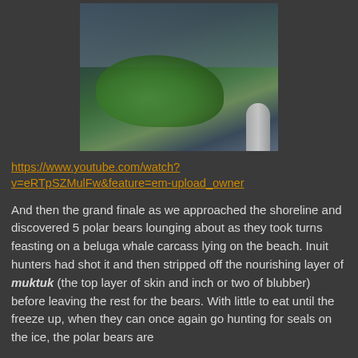[Figure (photo): Aerial or boat-side view of rocky, algae-covered shoreline with dark water and a metal boat railing visible in lower right corner]
https://www.youtube.com/watch?v=eRTpSZMulFw&feature=em-upload_owner
And then the grand finale as we approached the shoreline and discovered 5 polar bears lounging about as they took turns feasting on a beluga whale carcass lying on the beach. Inuit hunters had shot it and then stripped off the nourishing layer of muktuk (the top layer of skin and inch or two of blubber) before leaving the rest for the bears. With little to eat until the freeze up, when they can once again go hunting for seals on the ice, the polar bears are